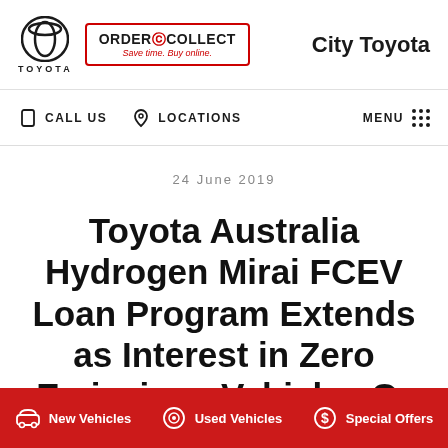Toyota | ORDER & COLLECT Save time. Buy online. | City Toyota
CALL US | LOCATIONS | MENU
24 June 2019
Toyota Australia Hydrogen Mirai FCEV Loan Program Extends as Interest in Zero Emissions Vehicles Gr
New Vehicles | Used Vehicles | Special Offers